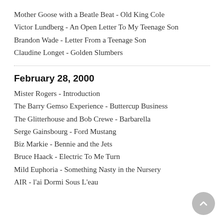Mother Goose with a Beatle Beat - Old King Cole
Victor Lundberg - An Open Letter To My Teenage Son
Brandon Wade - Letter From a Teenage Son
Claudine Longet - Golden Slumbers
February 28, 2000
Mister Rogers - Introduction
The Barry Gemso Experience - Buttercup Business
The Glitterhouse and Bob Crewe - Barbarella
Serge Gainsbourg - Ford Mustang
Biz Markie - Bennie and the Jets
Bruce Haack - Electric To Me Turn
Mild Euphoria - Something Nasty in the Nursery
AIR - l'ai Dormi Sous L'eau